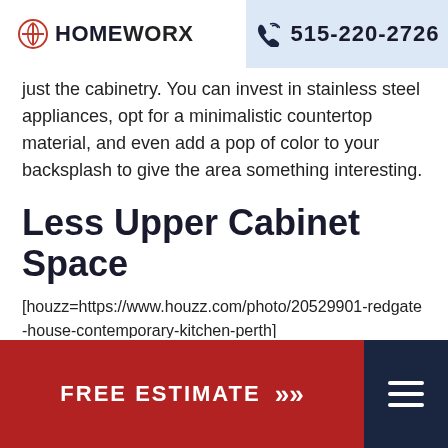HOMEWORX | 515-220-2726
just the cabinetry. You can invest in stainless steel appliances, opt for a minimalistic countertop material, and even add a pop of color to your backsplash to give the area something interesting.
Less Upper Cabinet Space
[houzz=https://www.houzz.com/photo/20529901-redgate-house-contemporary-kitchen-perth]
On the opposite end of the spectrum, if you're not so